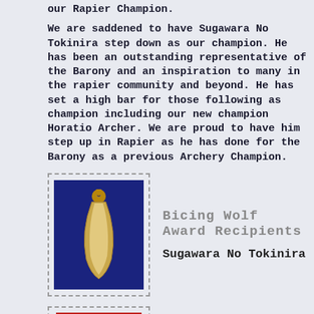our Rapier Champion.
We are saddened to have Sugawara No Tokinira step down as our champion. He has been an outstanding representative of the Barony and an inspiration to many in the rapier community and beyond. He has set a high bar for those following as champion including our new champion Horatio Archer. We are proud to have him step up in Rapier as he has done for the Barony as a previous Archery Champion.
[Figure (photo): A decorative animal claw charm or pendant, gold-colored, on a dark blue background, inside a dashed border box.]
Bicing Wolf Award Recipients
Sugawara No Tokinira
[Figure (photo): A small round medallion or badge, silver-colored, on a red background, inside a dashed border box.]
Wind Swann Dark Award Recipients